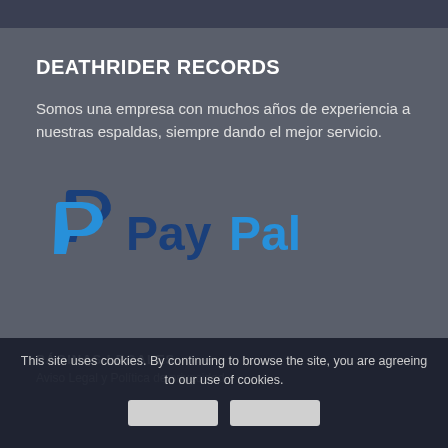DEATHRIDER RECORDS
Somos una empresa con muchos años de experiencia a nuestras espaldas, siempre dando el mejor servicio.
[Figure (logo): PayPal logo with two overlapping 'P' symbols in dark blue and light blue, followed by 'PayPal' text in dark blue and light blue]
PÁGINAS LEGALES
Aviso Legal y Política de privacidad
This site uses cookies. By continuing to browse the site, you are agreeing to our use of cookies.